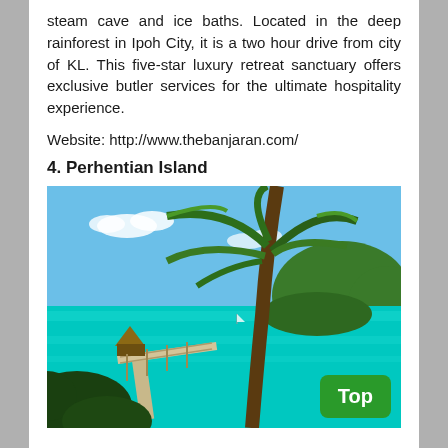steam cave and ice baths. Located in the deep rainforest in Ipoh City, it is a two hour drive from city of KL. This five-star luxury retreat sanctuary offers exclusive butler services for the ultimate hospitality experience.
Website: http://www.thebanjaran.com/
4. Perhentian Island
[Figure (photo): Tropical beach scene with turquoise water, a palm tree in the foreground, and a wooden pier extending into the sea with a thatched-roof structure at the end. Lush green hills in the background under a blue sky.]